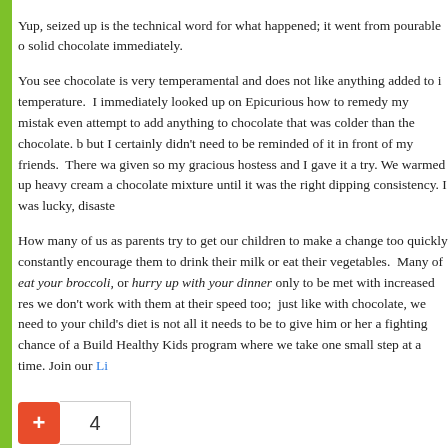Yup, seized up is the technical word for what happened; it went from pourable to solid chocolate immediately.
You see chocolate is very temperamental and does not like anything added to it at a different temperature. I immediately looked up on Epicurious how to remedy my mistake: never even attempt to add anything to chocolate that was colder than the chocolate. I knew that but I certainly didn't need to be reminded of it in front of my friends. There was however a tip given so my gracious hostess and I gave it a try. We warmed up heavy cream and added it to the chocolate mixture until it was the right dipping consistency. I was lucky, disaster averted.
How many of us as parents try to get our children to make a change too quickly? We constantly encourage them to drink their milk or eat their vegetables. Many of us will say eat your broccoli, or hurry up with your dinner only to be met with increased resistance. If we don't work with them at their speed too; just like with chocolate, we need to remember that your child's diet is not all it needs to be to give him or her a fighting chance of a healthy life. Build Healthy Kids program where we take one small step at a time. Join our Li
4
Filed Under: Featured Article, National Health Month